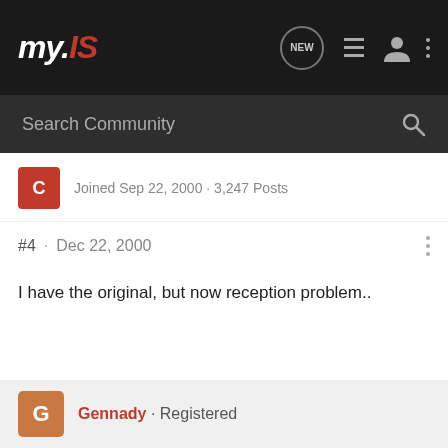my.IS
Search Community
Joined Sep 22, 2000 · 3,247 Posts
#4 · Dec 22, 2000
I have the original, but now reception problem..
Gennady · Registered